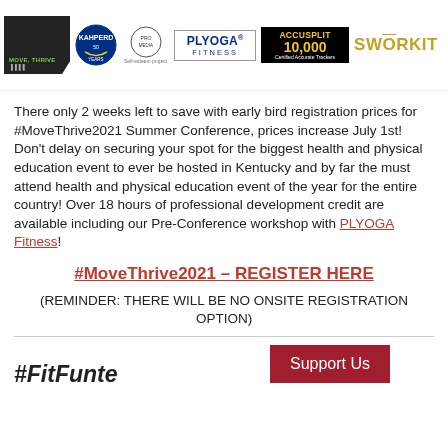[Figure (logo): Sponsor logos bar: Move Thrive logo, AHPERD circle logo, Pro Media circle logo, self-esteem project text, PLYOGA Fitness box logo, ACCUSPLIT 10,000 Certified Accurate Trackers logo, SWORKIT logo]
There only 2 weeks left to save with early bird registration prices for #MoveThrive2021 Summer Conference, prices increase July 1st! Don't delay on securing your spot for the biggest health and physical education event to ever be hosted in Kentucky and by far the must attend health and physical education event of the year for the entire country! Over 18 hours of professional development credit are available including our Pre-Conference workshop with PLYOGA Fitness!
#MoveThrive2021 – REGISTER HERE
(REMINDER: THERE WILL BE NO ONSITE REGISTRATION OPTION)
[Figure (other): Support Us button (dark red/crimson background, white text) and #FitFunto... italic bold text at bottom of page]